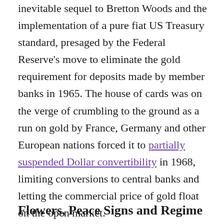inevitable sequel to Bretton Woods and the implementation of a pure fiat US Treasury standard, presaged by the Federal Reserve's move to eliminate the gold requirement for deposits made by member banks in 1965. The house of cards was on the verge of crumbling to the ground as a run on gold by France, Germany and other European nations forced it to partially suspended Dollar convertibility in 1968, limiting conversions to central banks and letting the commercial price of gold float on the open market.
Flowers, Peace Signs and Regime